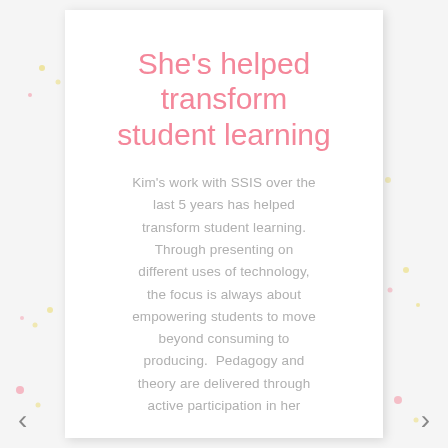She’s helped transform student learning
Kim’s work with SSIS over the last 5 years has helped transform student learning. Through presenting on different uses of technology, the focus is always about empowering students to move beyond consuming to producing. Pedagogy and theory are delivered through active participation in her